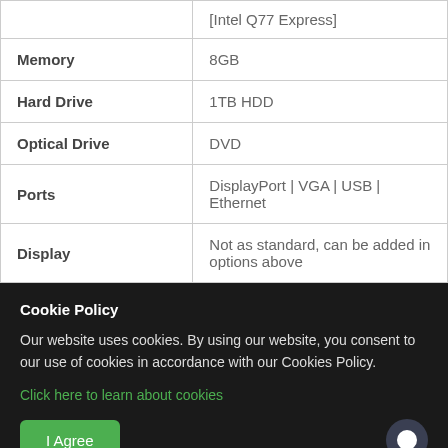|  |  |
| --- | --- |
|  | [Intel Q77 Express] |
| Memory | 8GB |
| Hard Drive | 1TB HDD |
| Optical Drive | DVD |
| Ports | DisplayPort | VGA | USB | Ethernet |
| Display | Not as standard, can be added in options above |
Cookie Policy
Our website uses cookies. By using our website, you consent to our use of cookies in accordance with our Cookies Policy.
Click here to learn about cookies
I Agree